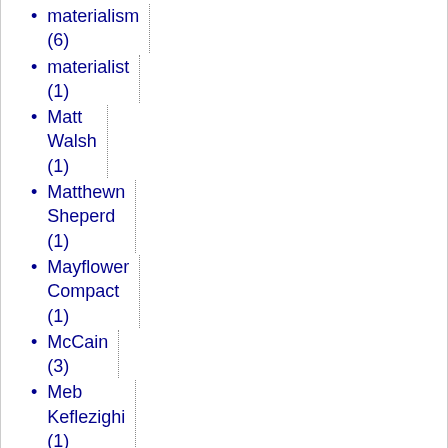materialism (6)
materialist (1)
Matt Walsh (1)
Matthewn Sheperd (1)
Mayflower Compact (1)
McCain (3)
Meb Keflezighi (1)
mechanism (1)
Meddling Government (1)
media (2)